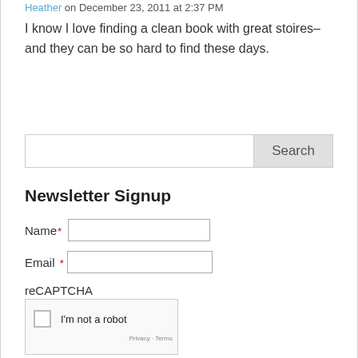Heather on December 23, 2011 at 2:37 PM
I know I love finding a clean book with great stoires–and they can be so hard to find these days.
Search
Newsletter Signup
Name* [input field]
Email * [input field]
reCAPTCHA
[Figure (other): reCAPTCHA widget with checkbox and 'I'm not a robot' text, Privacy and Terms links]